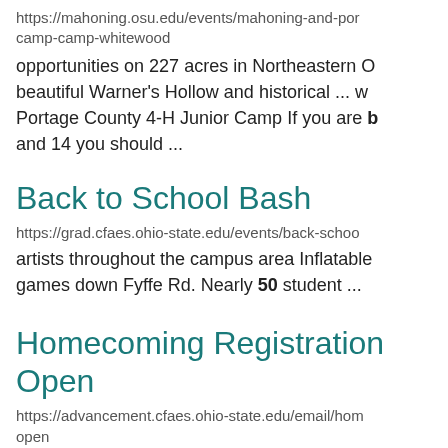https://mahoning.osu.edu/events/mahoning-and-por camp-camp-whitewood
opportunities on 227 acres in Northeastern O beautiful Warner's Hollow and historical ... w Portage County 4-H Junior Camp If you are b and 14 you should ...
Back to School Bash
https://grad.cfaes.ohio-state.edu/events/back-schoo
artists throughout the campus area Inflatable games down Fyffe Rd. Nearly 50 student ...
Homecoming Registration Open
https://advancement.cfaes.ohio-state.edu/email/hom open
https://www.cfaes.ohio-state.edu/CFAES-and-Ar-F...